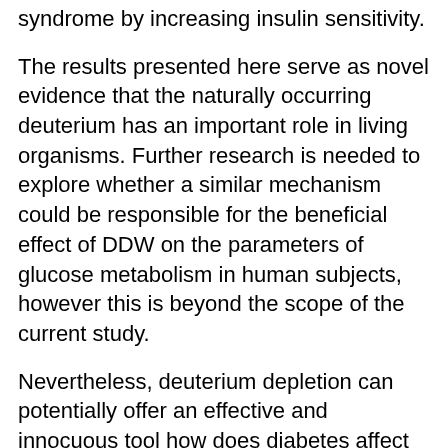syndrome by increasing insulin sensitivity.
The results presented here serve as novel evidence that the naturally occurring deuterium has an important role in living organisms. Further research is needed to explore whether a similar mechanism could be responsible for the beneficial effect of DDW on the parameters of glucose metabolism in human subjects, however this is beyond the scope of the current study.
Nevertheless, deuterium depletion can potentially offer an effective and innocuous tool how does diabetes affect your heart rate treating not only malignant but also metabolic diseases. Data availability All data generated or analysed during this study are included in this published article. References 1. Jancsó G Isotope effects.